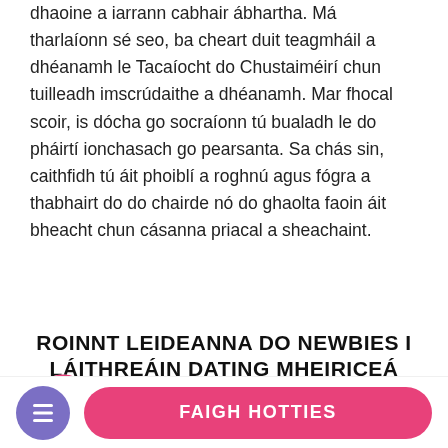dhaoine a iarrann cabhair ábhartha. Má tharlaíonn sé seo, ba cheart duit teagmháil a dhéanamh le Tacaíocht do Chustaiméirí chun tuilleadh imscrúdaithe a dhéanamh. Mar fhocal scoir, is dócha go socraíonn tú bualadh le do pháirtí ionchasach go pearsanta. Sa chás sin, caithfidh tú áit phoiblí a roghnú agus fógra a thabhairt do do chairde nó do ghaolta faoin áit bheacht chun cásanna priacal a sheachaint.
ROINNT LEIDEANNA DO NEWBIES I LÁITHREÁIN DATING MHEIRICEÁ
r a thosaíonn tú ag úsáid suíomhanna dátaithe Mheiriceá, caithfidh tú a bheith foighneach. Níl aon ráthaíocht ann go gcomhlánfaidh tú do chluiche...
FAIGH HOTTIES